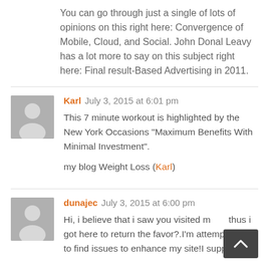You can go through just a single of lots of opinions on this right here: Convergence of Mobile, Cloud, and Social. John Donal Leavy has a lot more to say on this subject right here: Final result-Based Advertising in 2011.
Karl  July 3, 2015 at 6:01 pm
This 7 minute workout is highlighted by the New York Occasions “Maximum Benefits With Minimal Investment”.

my blog Weight Loss (Karl)
dunajec  July 3, 2015 at 6:00 pm
Hi, i believe that i saw you visited m thus i got here to return the favor?.I’m attempting to to find issues to enhance my site!I suppose its